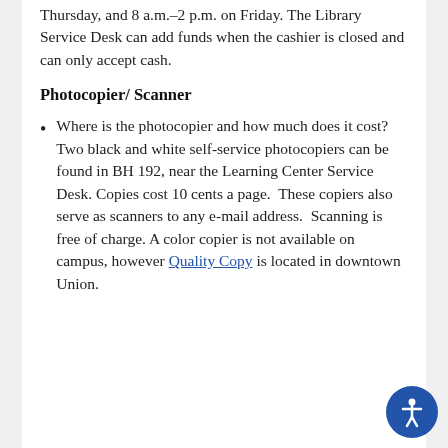Thursday, and 8 a.m.–2 p.m. on Friday. The Library Service Desk can add funds when the cashier is closed and can only accept cash.
Photocopier/ Scanner
Where is the photocopier and how much does it cost?
Two black and white self-service photocopiers can be found in BH 192, near the Learning Center Service Desk. Copies cost 10 cents a page.  These copiers also serve as scanners to any e-mail address.  Scanning is free of charge. A color copier is not available on campus, however Quality Copy is located in downtown Union.